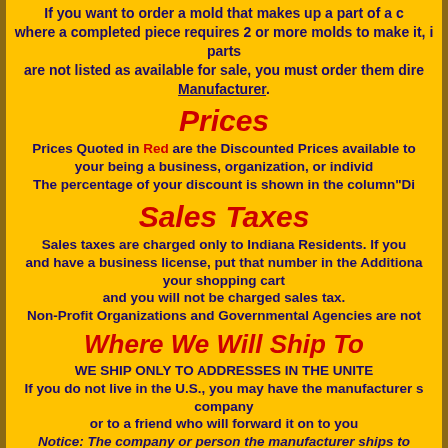If you want to order a mold that makes up a part of a completed piece where a completed piece requires 2 or more molds to make it, individual parts are not listed as available for sale, you must order them directly from the Manufacturer.
Prices
Prices Quoted in Red are the Discounted Prices available to you due to your being a business, organization, or individual reseller. The percentage of your discount is shown in the column "Di...
Sales Taxes
Sales taxes are charged only to Indiana Residents. If you are a business and have a business license, put that number in the Additional field in your shopping cart and you will not be charged sales tax. Non-Profit Organizations and Governmental Agencies are not...
Where We Will Ship To
WE SHIP ONLY TO ADDRESSES IN THE UNITED STATES. If you do not live in the U.S., you may have the manufacturer ship it to a company or to a friend who will forward it on to you. Notice: The company or person the manufacturer ships to...